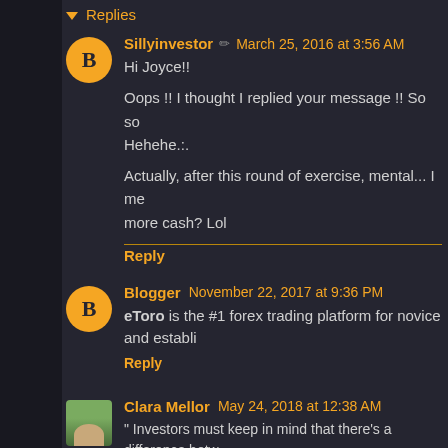Replies
Sillyinvestor  March 25, 2016 at 3:56 AM
Hi Joyce!!

Oops !! I thought I replied your message !! So so...
Hehehe.:.

Actually, after this round of exercise, mental... I me...
more cash? Lol
Reply
Blogger  November 22, 2017 at 9:36 PM
eToro is the #1 forex trading platform for novice and establi...
Reply
Clara Mellor  May 24, 2018 at 12:38 AM
" Investors must keep in mind that there's a difference betw...